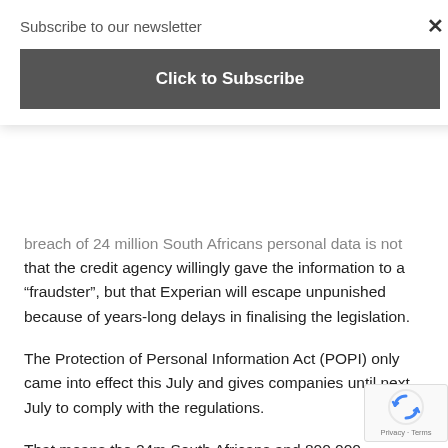Subscribe to our newsletter
Click to Subscribe
breach of 24 million South Africans personal data is not that the credit agency willingly gave the information to a “fraudster”, but that Experian will escape unpunished because of years-long delays in finalising the legislation.
The Protection of Personal Information Act (POPI) only came into effect this July and gives companies until next July to comply with the regulations.
That means the 24m South Africans and 800,000 businesses whose data was handed to a “suspected fraudster” by Experian have no recourse. Similarly, the so-called masterdeeds data breach – where an estimated